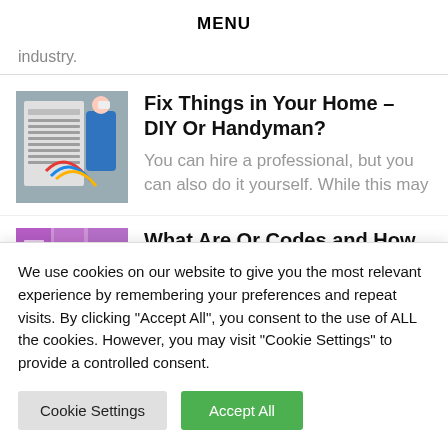MENU
industry.
Fix Things in Your Home – DIY Or Handyman?
You can hire a professional, but you can also do it yourself. While this may
What Are Or Codes and How Safe
We use cookies on our website to give you the most relevant experience by remembering your preferences and repeat visits. By clicking "Accept All", you consent to the use of ALL the cookies. However, you may visit "Cookie Settings" to provide a controlled consent.